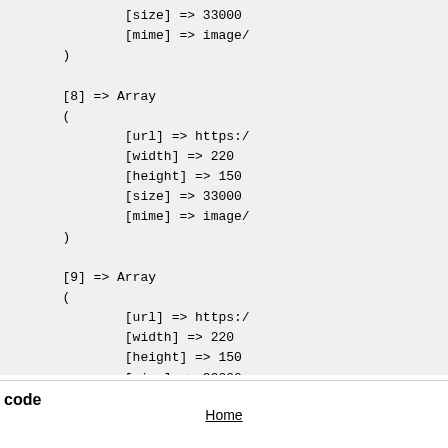[size] => 33000
    [mime] => image/
)

[8] => Array
    (
        [url] => https:/
        [width] => 220
        [height] => 150
        [size] => 33000
        [mime] => image/
    )

[9] => Array
    (
        [url] => https:/
        [width] => 220
        [height] => 150
        [size] => 33000
        [mime] => image/
    )

)
code
Home